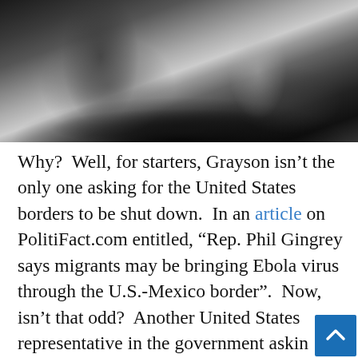[Figure (photo): Black and white photograph showing people bending over dark soil or ground, appearing to dig or work. The image is grayscale.]
Why?  Well, for starters, Grayson isn't the only one asking for the United States borders to be shut down.  In an article on PolitiFact.com entitled, “Rep. Phil Gingrey says migrants may be bringing Ebola virus through the U.S.-Mexico border”.  Now, isn’t that odd?  Another United States representative in the government asking border control due to Ebola... from Mexico?